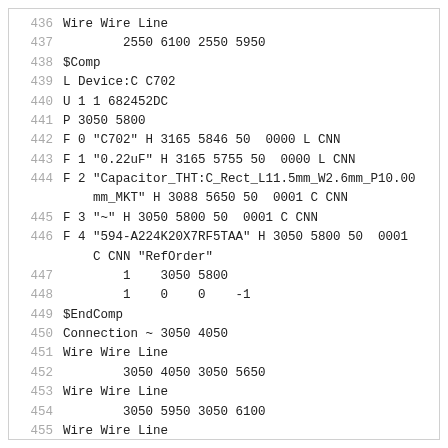436   Wire Wire Line
437         2550 6100 2550 5950
438   $Comp
439   L Device:C C702
440   U 1 1 682452DC
441   P 3050 5800
442   F 0 "C702" H 3165 5846 50  0000 L CNN
443   F 1 "0.22uF" H 3165 5755 50  0000 L CNN
444   F 2 "Capacitor_THT:C_Rect_L11.5mm_W2.6mm_P10.00
      mm_MKT" H 3088 5650 50  0001 C CNN
445   F 3 "~" H 3050 5800 50  0001 C CNN
446   F 4 "594-A224K20X7RF5TAA" H 3050 5800 50  0001
      C CNN "RefOrder"
447         1    3050 5800
448         1    0    0    -1
449   $EndComp
450   Connection ~ 3050 4050
451   Wire Wire Line
452         3050 4050 3050 5650
453   Wire Wire Line
454         3050 5950 3050 6100
455   Wire Wire Line